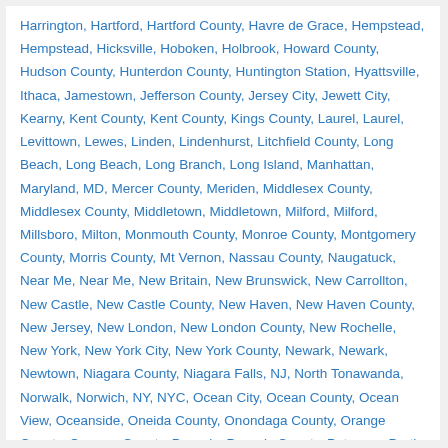Harrington, Hartford, Hartford County, Havre de Grace, Hempstead, Hempstead, Hicksville, Hoboken, Holbrook, Howard County, Hudson County, Hunterdon County, Huntington Station, Hyattsville, Ithaca, Jamestown, Jefferson County, Jersey City, Jewett City, Kearny, Kent County, Kent County, Kings County, Laurel, Laurel, Levittown, Lewes, Linden, Lindenhurst, Litchfield County, Long Beach, Long Beach, Long Branch, Long Island, Manhattan, Maryland, MD, Mercer County, Meriden, Middlesex County, Middlesex County, Middletown, Middletown, Milford, Milford, Millsboro, Milton, Monmouth County, Monroe County, Montgomery County, Morris County, Mt Vernon, Nassau County, Naugatuck, Near Me, Near Me, New Britain, New Brunswick, New Carrollton, New Castle, New Castle County, New Haven, New Haven County, New Jersey, New London, New London County, New Rochelle, New York, New York City, New York County, Newark, Newark, Newtown, Niagara County, Niagara Falls, NJ, North Tonawanda, Norwalk, Norwich, NY, NYC, Ocean City, Ocean County, Ocean View, Oceanside, Oneida County, Onondaga County, Orange County, Oswego County, Passaic, Passaic County, Paterson, Perth Amboy, Plainfield, Port Chester, Poughkeepsie, Prince George's County, Queen Anne's County, Queens, Queens County, Rehoboth Beach, Rensselaer County, Richmond County, Rochester, Rockland County, Rockville, Rome, Salem County,